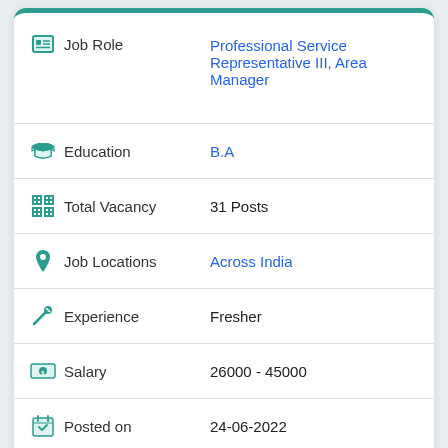| Field | Value |
| --- | --- |
| Job Role | Professional Service Representative III, Area Manager |
| Education | B.A |
| Total Vacancy | 31 Posts |
| Job Locations | Across India |
| Experience | Fresher |
| Salary | 26000 - 45000 |
| Posted on | 24-06-2022 |
| Last Date | 15-07-2022 |